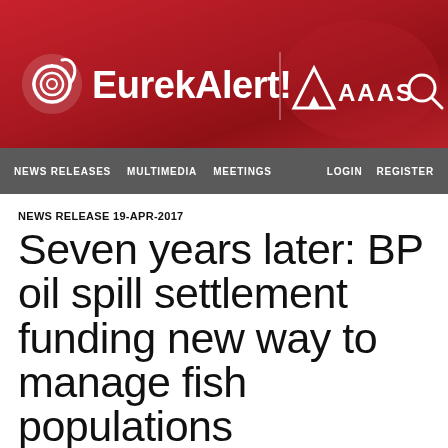[Figure (logo): EurekAlert! website header with red gradient background, EurekAlert! logo with spiral icon, vertical divider, AAAS logo, and search icon]
NEWS RELEASES  MULTIMEDIA  MEETINGS  LOGIN  REGISTER
NEWS RELEASE 19-APR-2017
Seven years later: BP oil spill settlement funding new way to manage fish populations
University of South Florida researchers extracting DNA from fish eggs
Peer-Reviewed Publication
UNIVERSITY OF SOUTH FLORIDA (USF HEALTH)